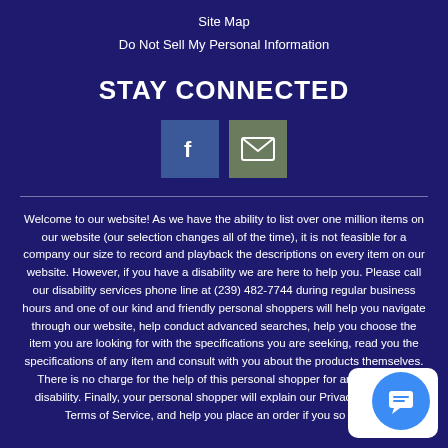Site Map
Do Not Sell My Personal Information
STAY CONNECTED
[Figure (infographic): Two social media icon buttons: Facebook (blue 'f' icon) and Email (olive/grey envelope icon)]
Welcome to our website! As we have the ability to list over one million items on our website (our selection changes all of the time), it is not feasible for a company our size to record and playback the descriptions on every item on our website. However, if you have a disability we are here to help you. Please call our disability services phone line at (239) 482-7744 during regular business hours and one of our kind and friendly personal shoppers will help you navigate through our website, help conduct advanced searches, help you choose the item you are looking for with the specifications you are seeking, read you the specifications of any item and consult with you about the products themselves. There is no charge for the help of this personal shopper for anyone with a disability. Finally, your personal shopper will explain our Privacy Policy and Terms of Service, and help you place an order if you so desire.